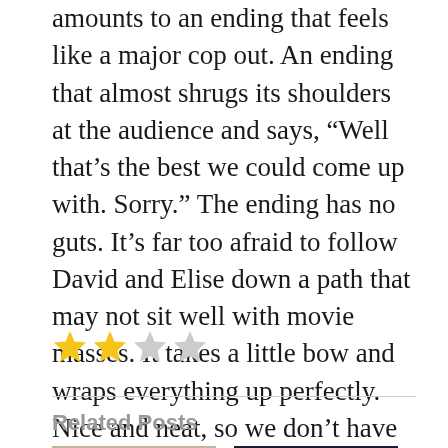amounts to an ending that feels like a major cop out. An ending that almost shrugs its shoulders at the audience and says, “Well that’s the best we could come up with. Sorry.” The ending has no guts. It’s far too afraid to follow David and Elise down a path that may not sit well with movie masses. It takes a little bow and wraps everything up perfectly. Nice and neat, so we don’t have to think or feel. What this movie could have used is a Plan of its own from a higher power.
[Figure (other): Star rating: 2 out of 4 stars (two filled gold stars, two empty grey stars)]
Related Posts
[Figure (photo): A scene from a movie showing two people (a man and a woman) in what appears to be an indoor setting]
[Figure (photo): Movie poster for The Adjustment Bureau featuring Matt Damon and Emily Blunt]